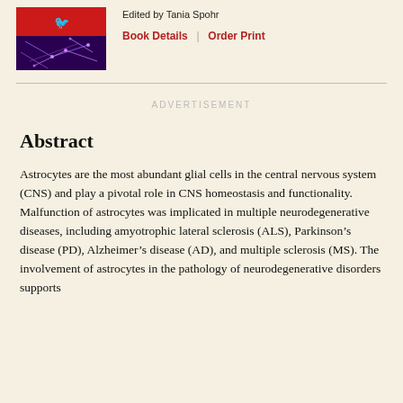[Figure (illustration): Book cover with red top section with a small white bird logo and purple/blue neural network imagery on the bottom half]
Edited by Tania Spohr
Book Details | Order Print
ADVERTISEMENT
Abstract
Astrocytes are the most abundant glial cells in the central nervous system (CNS) and play a pivotal role in CNS homeostasis and functionality. Malfunction of astrocytes was implicated in multiple neurodegenerative diseases, including amyotrophic lateral sclerosis (ALS), Parkinson's disease (PD), Alzheimer's disease (AD), and multiple sclerosis (MS). The involvement of astrocytes in the pathology of neurodegenerative disorders supports